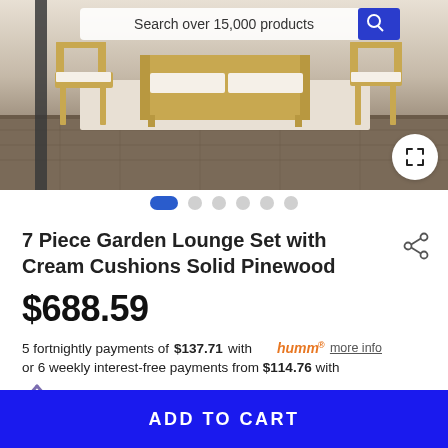[Figure (screenshot): Product photo of 7 Piece Garden Lounge Set with wooden furniture on outdoor patio surface, with search bar overlay at top]
7 Piece Garden Lounge Set with Cream Cushions Solid Pinewood
$688.59
5 fortnightly payments of $137.71 with humm more info
or 6 weekly interest-free payments from $114.76 with LAYBUY what's this?
ADD TO CART